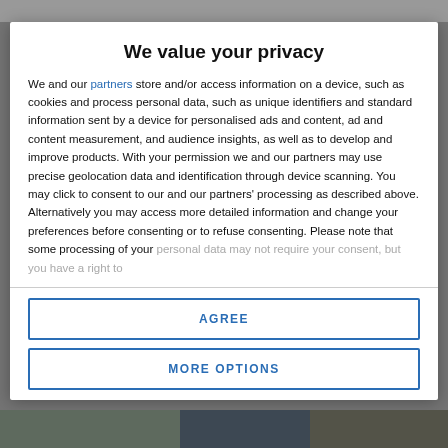[Figure (screenshot): Blurred webpage header area visible behind modal overlay]
We value your privacy
We and our partners store and/or access information on a device, such as cookies and process personal data, such as unique identifiers and standard information sent by a device for personalised ads and content, ad and content measurement, and audience insights, as well as to develop and improve products. With your permission we and our partners may use precise geolocation data and identification through device scanning. You may click to consent to our and our partners' processing as described above. Alternatively you may access more detailed information and change your preferences before consenting or to refuse consenting. Please note that some processing of your personal data may not require your consent, but you have a right to
AGREE
MORE OPTIONS
[Figure (photo): Blurred photo visible at bottom of page behind modal overlay]